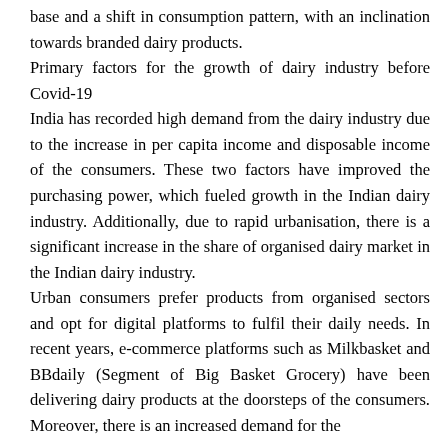base and a shift in consumption pattern, with an inclination towards branded dairy products.
Primary factors for the growth of dairy industry before Covid-19
India has recorded high demand from the dairy industry due to the increase in per capita income and disposable income of the consumers. These two factors have improved the purchasing power, which fueled growth in the Indian dairy industry. Additionally, due to rapid urbanisation, there is a significant increase in the share of organised dairy market in the Indian dairy industry.
Urban consumers prefer products from organised sectors and opt for digital platforms to fulfil their daily needs. In recent years, e-commerce platforms such as Milkbasket and BBdaily (Segment of Big Basket Grocery) have been delivering dairy products at the doorsteps of the consumers. Moreover, there is an increased demand for the